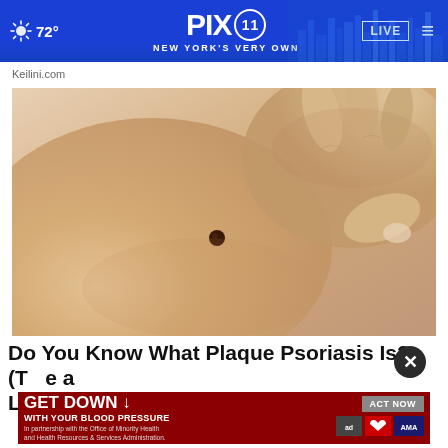PIX 11 New York's Very Own — 72° LIVE
Keilini.com
[Figure (photo): Close-up photo of a person's torso/shoulder area being examined, with a visible dark mole/skin lesion on the skin and hands touching the area.]
Do You Know What Plaque Psoriasis Is? (Take a Loo...
[Figure (other): Advertisement banner: GET DOWN WITH YOUR BLOOD PRESSURE — In partnership with the Office of Minority Health and Health Resources & Services Administration. ACT NOW button. Ad logos including ad council, heart association, and AMA.]
Plaqu...